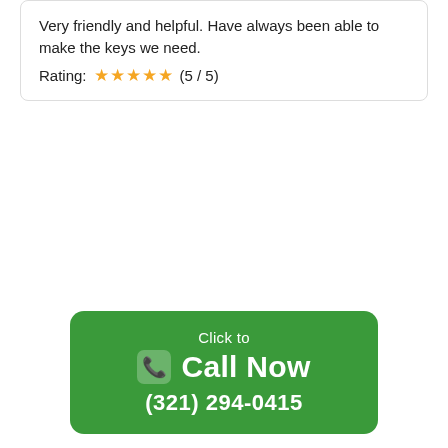Very friendly and helpful. Have always been able to make the keys we need.
Rating: ★★★★★ (5 / 5)
[Figure (other): Green rounded-rectangle call-to-action button with phone icon, text 'Click to Call Now (321) 294-0415']